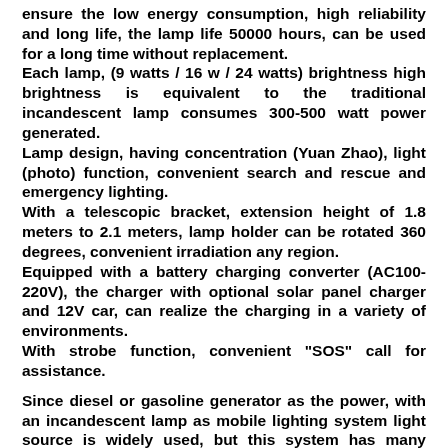ensure the low energy consumption, high reliability and long life, the lamp life 50000 hours, can be used for a long time without replacement.
Each lamp, (9 watts / 16 w / 24 watts) brightness high brightness is equivalent to the traditional incandescent lamp consumes 300-500 watt power generated.
Lamp design, having concentration (Yuan Zhao), light (photo) function, convenient search and rescue and emergency lighting.
With a telescopic bracket, extension height of 1.8 meters to 2.1 meters, lamp holder can be rotated 360 degrees, convenient irradiation any region.
Equipped with a battery charging converter (AC100-220V), the charger with optional solar panel charger and 12V car, can realize the charging in a variety of environments.
With strobe function, convenient "SOS" call for assistance.
Since diesel or gasoline generator as the power, with an incandescent lamp as mobile lighting system light source is widely used, but this system has many shortcomings, wiring is not easy to install, easy to mix with the generator, causing noise and pollution of the environment, the system bulky and inconvenient to carry,